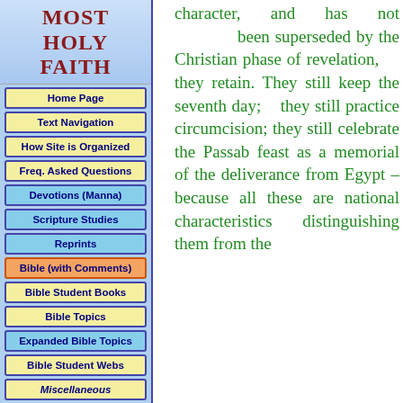MOST HOLY FAITH
Home Page
Text Navigation
How Site is Organized
Freq. Asked Questions
Devotions (Manna)
Scripture Studies
Reprints
Bible (with Comments)
Bible Student Books
Bible Topics
Expanded Bible Topics
Bible Student Webs
Miscellaneous
character, and has not been superseded by the Christian phase of revelation, they retain. They still keep the seventh day; they still practice circumcision; they still celebrate the Passab feast as a memorial of the deliverance from Egypt – because all these are national characteristics distinguishing them from the Gentomes of